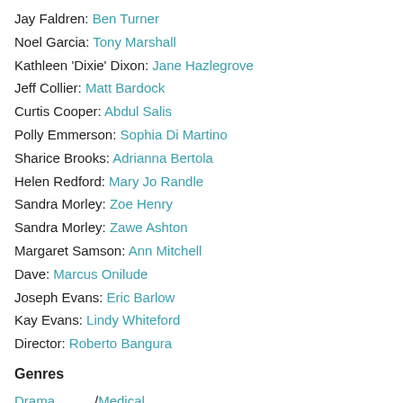Jay Faldren: Ben Turner
Noel Garcia: Tony Marshall
Kathleen 'Dixie' Dixon: Jane Hazlegrove
Jeff Collier: Matt Bardock
Curtis Cooper: Abdul Salis
Polly Emmerson: Sophia Di Martino
Sharice Brooks: Adrianna Bertola
Helen Redford: Mary Jo Randle
Sandra Morley: Zoe Henry
Sandra Morley: Zawe Ashton
Margaret Samson: Ann Mitchell
Dave: Marcus Onilude
Joseph Evans: Eric Barlow
Kay Evans: Lindy Whiteford
Director: Roberto Bangura
Genres
Drama / Medical
Drama / Soaps